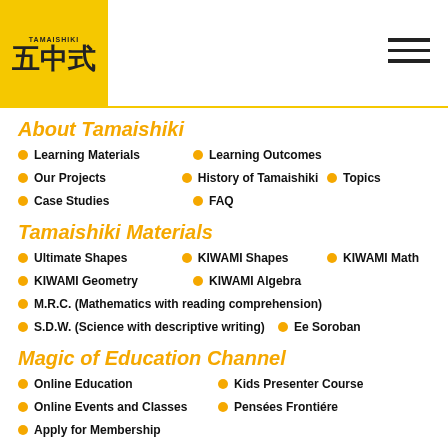[Figure (logo): Tamaishiki logo: yellow square with Japanese characters and small text 'TAMAISHIKI' at top]
About Tamaishiki
Learning Materials
Learning Outcomes
Our Projects
History of Tamaishiki
Topics
Case Studies
FAQ
Tamaishiki Materials
Ultimate Shapes
KIWAMI Shapes
KIWAMI Math
KIWAMI Geometry
KIWAMI Algebra
M.R.C. (Mathematics with reading comprehension)
S.D.W. (Science with descriptive writing)
Ee Soroban
Magic of Education Channel
Online Education
Kids Presenter Course
Online Events and Classes
Pensées Frontiére
Apply for Membership